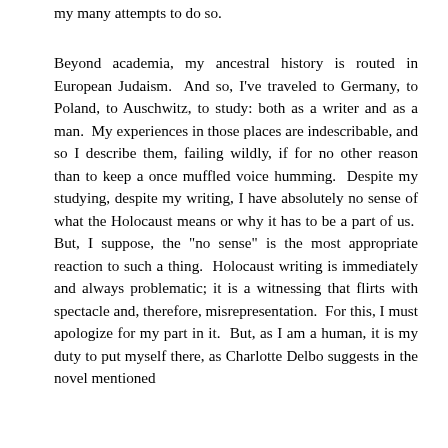my many attempts to do so.
Beyond academia, my ancestral history is routed in European Judaism.  And so, I've traveled to Germany, to Poland, to Auschwitz, to study: both as a writer and as a man.  My experiences in those places are indescribable, and so I describe them, failing wildly, if for no other reason than to keep a once muffled voice humming.  Despite my studying, despite my writing, I have absolutely no sense of what the Holocaust means or why it has to be a part of us.  But, I suppose, the "no sense" is the most appropriate reaction to such a thing.  Holocaust writing is immediately and always problematic; it is a witnessing that flirts with spectacle and, therefore, misrepresentation.  For this, I must apologize for my part in it.  But, as I am a human, it is my duty to put myself there, as Charlotte Delbo suggests in the novel mentioned